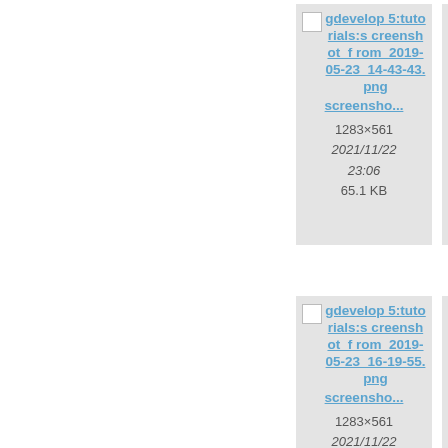[Figure (screenshot): File card thumbnail for gdevelop5:tutorials:screenshot_from_2019-05-23_14-43-43.png with metadata: screensho... 1283×561 2021/11/22 23:06 65.1 KB]
[Figure (screenshot): Partially visible file card thumbnail for gdevelop5:tutorials:screenshot_from_2019-05-2_05-5... with metadata: screen... 1283 2021/ 23: 56.9]
[Figure (screenshot): File card thumbnail for gdevelop5:tutorials:screenshot_from_2019-05-23_16-19-55.png with metadata: screensho... 1283×561 2021/11/22 23:06]
[Figure (screenshot): Partially visible file card for gdevelop5:tutorials:screenshot_from_2019-05-2_21-5... with metadata: screen... 1283 2021/ 23:]